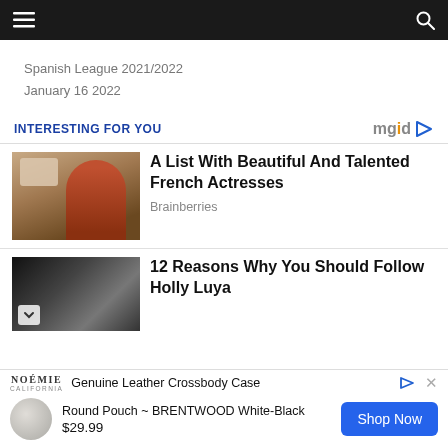≡  🔍
Spanish League 2021/2022
January 16 2022
INTERESTING FOR YOU
[Figure (photo): Woman in red top arranging hair]
A List With Beautiful And Talented French Actresses
Brainberries
[Figure (photo): Dark styled fashion photo]
12 Reasons Why You Should Follow Holly Luya
NOÉMIE
CALIFORNIA
Genuine Leather Crossbody Case
Round Pouch ~ BRENTWOOD White-Black
$29.99
Shop Now